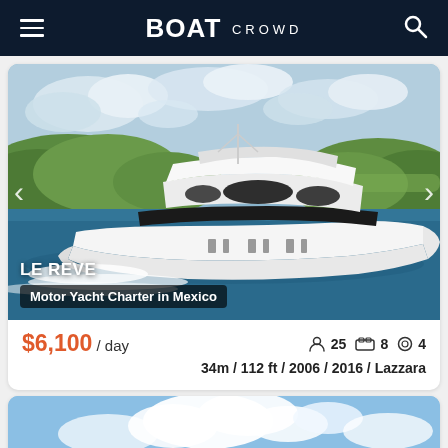BOAT CROWD
[Figure (photo): White luxury motor yacht named 'Le Reve' speeding through blue water with green hills and cloudy sky in background]
LE REVE
Motor Yacht Charter in Mexico
$6,100 / day
25 passengers  8 cabins  4 crew  34m / 112 ft / 2006 / 2016 / Lazzara
[Figure (photo): Partial view of second yacht listing showing blue sky with white clouds]